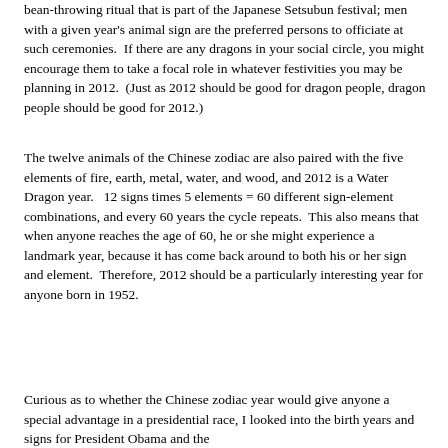bean-throwing ritual that is part of the Japanese Setsubun festival; men with a given year's animal sign are the preferred persons to officiate at such ceremonies.  If there are any dragons in your social circle, you might encourage them to take a focal role in whatever festivities you may be planning in 2012.  (Just as 2012 should be good for dragon people, dragon people should be good for 2012.)
The twelve animals of the Chinese zodiac are also paired with the five elements of fire, earth, metal, water, and wood, and 2012 is a Water Dragon year.   12 signs times 5 elements = 60 different sign-element combinations, and every 60 years the cycle repeats.  This also means that when anyone reaches the age of 60, he or she might experience a landmark year, because it has come back around to both his or her sign and element.  Therefore, 2012 should be a particularly interesting year for anyone born in 1952.
Curious as to whether the Chinese zodiac year would give anyone a special advantage in a presidential race, I looked into the birth years and signs for President Obama and the Republican candidates at the time of this writing.  The